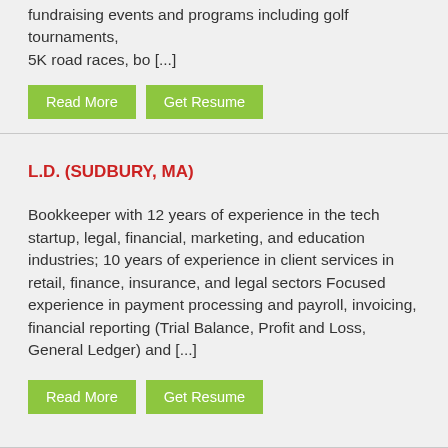fundraising events and programs including golf tournaments, 5K road races, bo [...]
Read More | Get Resume
L.D. (SUDBURY, MA)
Bookkeeper with 12 years of experience in the tech startup, legal, financial, marketing, and education industries; 10 years of experience in client services in retail, finance, insurance, and legal sectors Focused experience in payment processing and payroll, invoicing, financial reporting (Trial Balance, Profit and Loss, General Ledger) and [...]
Read More | Get Resume